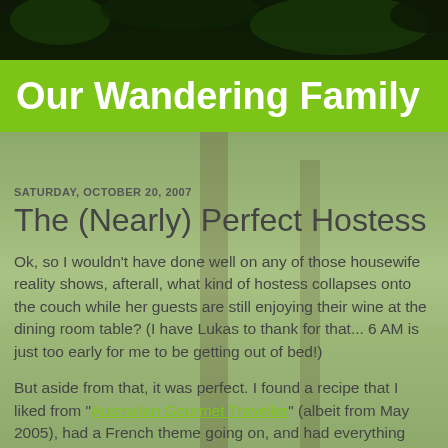[Figure (photo): Forest/nature background photo with dark treetop canopy at top and green foliage throughout]
Our Wandering Family
SATURDAY, OCTOBER 20, 2007
The (Nearly) Perfect Hostess
Ok, so I wouldn't have done well on any of those housewife reality shows, afterall, what kind of hostess collapses onto the couch while her guests are still enjoying their wine at the dining room table? (I have Lukas to thank for that... 6 AM is just too early for me to be getting out of bed!)
But aside from that, it was perfect. I found a recipe that I liked from "Australian Gourmet Traveller" (albeit from May 2005), had a French theme going on, and had everything prepared by the time everyone arrived ("everyone" being Tobi's parents, our friend Connie, and Tobi, who was just arriving from The Netherlands). For dinner we had "Soup aux pais chiche et á l'agneau" (aka Lamb, Tomato, and Chickpea